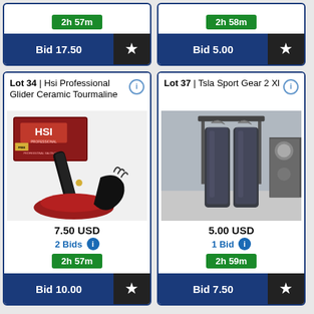2h 57m
Bid 17.50
2h 58m
Bid 5.00
Lot 34 | Hsi Professional Glider Ceramic Tourmaline
[Figure (photo): HSI Professional hair straightener with red satin bag, black glove, and product box]
7.50 USD
2 Bids
2h 57m
Bid 10.00
Lot 37 | Tsla Sport Gear 2 Xl
[Figure (photo): Dark sport pants hanging on a rack]
5.00 USD
1 Bid
2h 59m
Bid 7.50